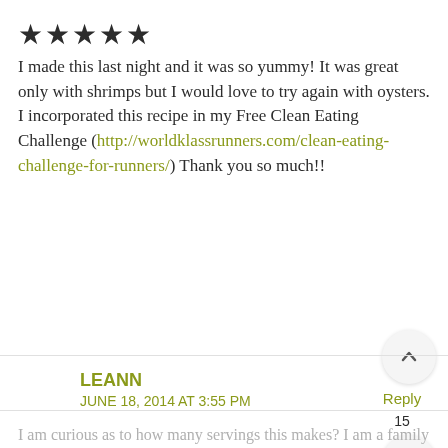★★★★★
I made this last night and it was so yummy! It was great only with shrimps but I would love to try again with oysters.
I incorporated this recipe in my Free Clean Eating Challenge (http://worldklassrunners.com/clean-eating-challenge-for-runners/) Thank you so much!!
Reply
15
LEANN
JUNE 18, 2014 AT 3:55 PM
I am curious as to how many servings this makes? I am a family of 3, and am wondering if I should cut...